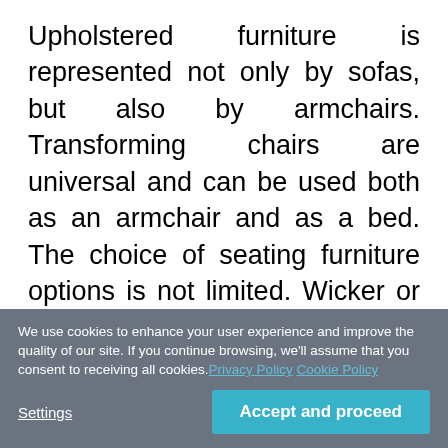Upholstered furniture is represented not only by sofas, but also by armchairs. Transforming chairs are universal and can be used both as an armchair and as a bed. The choice of seating furniture options is not limited. Wicker or metal-framed models are not only good looking but lightweight as well and remind of summer holidays, beach and sea. There is a large number of variations of wicker chairs and you can find a mini armchair even for the smallest balcony. Hanging chairs are another original option and besides the fact that they save floor space, they make the balcony much more
We use cookies to enhance your user experience and improve the quality of our site. If you continue browsing, we'll assume that you consent to receiving all cookies. Privacy Policy  Cookie Policy
Settings
Accept and proceed